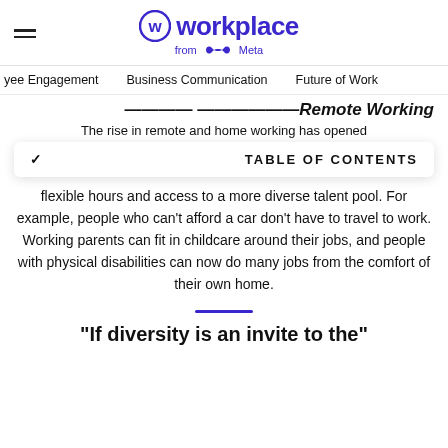Workplace from Meta
Employee Engagement   Business Communication   Future of Work
Remote Working
The rise in remote and home working has opened flexible hours and access to a more diverse talent pool. For example, people who can't afford a car don't have to travel to work. Working parents can fit in childcare around their jobs, and people with physical disabilities can now do many jobs from the comfort of their own home.
TABLE OF CONTENTS
"If diversity is an invite to the